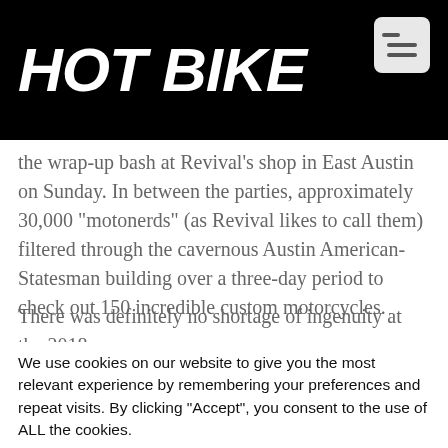HOT BIKE
the wrap-up bash at Revival's shop in East Austin on Sunday. In between the parties, approximately 30,000 “motonerds” (as Revival likes to call them) filtered through the cavernous Austin American-Statesman building over a three-day period to check out 150 incredible custom motorcycles.
There was definitely no shortage of ingenuity at the 2018
We use cookies on our website to give you the most relevant experience by remembering your preferences and repeat visits. By clicking “Accept”, you consent to the use of ALL the cookies.
Do not sell my personal information.